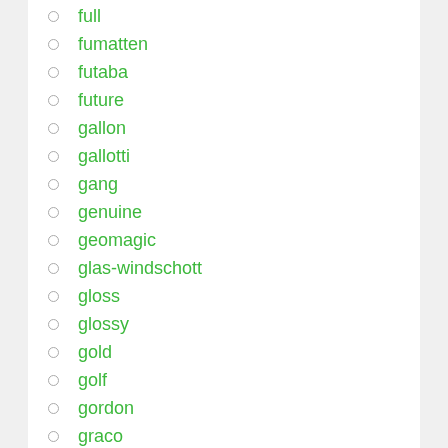full
fumatten
futaba
future
gallon
gallotti
gang
genuine
geomagic
glas-windschott
gloss
glossy
gold
golf
gordon
graco
grand
graphic
gray